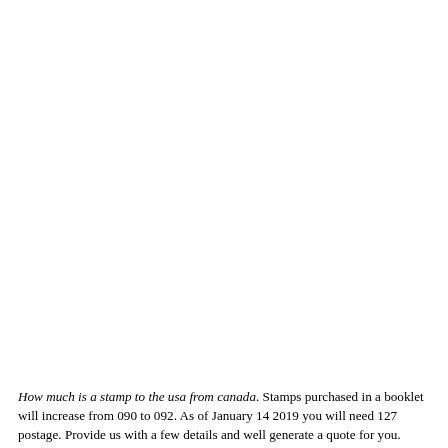How much is a stamp to the usa from canada. Stamps purchased in a booklet will increase from 090 to 092. As of January 14 2019 you will need 127 postage. Provide us with a few details and well generate a quote for you.